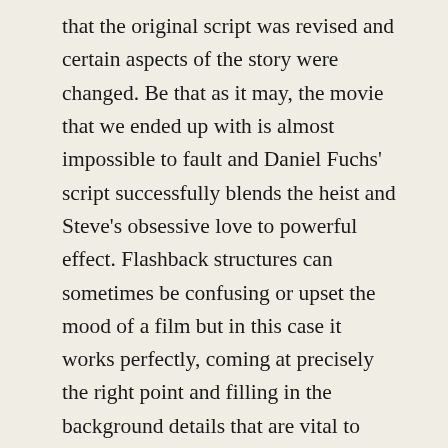that the original script was revised and certain aspects of the story were changed. Be that as it may, the movie that we ended up with is almost impossible to fault and Daniel Fuchs' script successfully blends the heist and Steve's obsessive love to powerful effect. Flashback structures can sometimes be confusing or upset the mood of a film but in this case it works perfectly, coming at precisely the right point and filling in the background details that are vital to understanding the nature of Steve and Anna's relationship. With a tight script, and Franz Planer's photographic talents, in place, director Robert Siodmak was free to put it all together with his customary visual flair. The opening, which I referred to earlier, pitches the viewer headlong into this complex tale of dishonor and betrayal in incredibly stylish fashion. And it never really lets up from that moment, with some wonderfully complex plot twists following